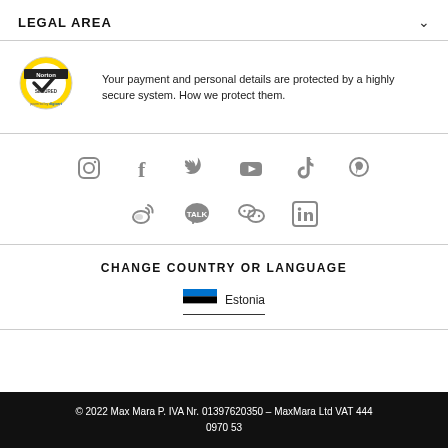LEGAL AREA
Your payment and personal details are protected by a highly secure system. How we protect them.
[Figure (infographic): Social media icons: Instagram, Facebook, Twitter, YouTube, TikTok, Pinterest, Weibo, KakaoTalk, WeChat, LinkedIn]
CHANGE COUNTRY OR LANGUAGE
Estonia
© 2022 Max Mara P. IVA Nr. 01397620350 – MaxMara Ltd VAT 444 0970 53